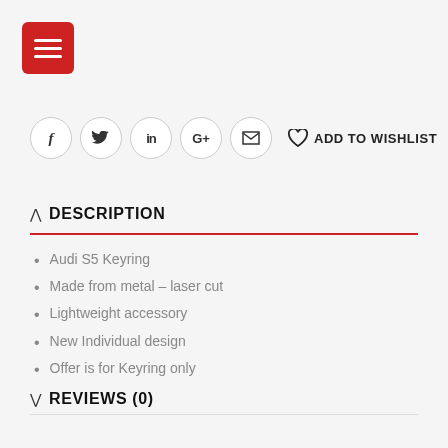[Figure (other): Red hamburger menu button icon]
[Figure (other): Social sharing buttons row: Facebook, Twitter, LinkedIn, Google+, Email circles, and Add to Wishlist heart button]
DESCRIPTION
Audi S5 Keyring
Made from metal – laser cut
Lightweight accessory
New Individual design
Offer is for Keyring only
REVIEWS (0)